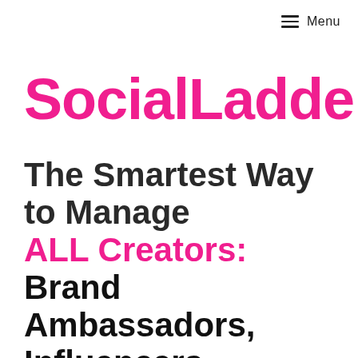Menu
SocialLadder
The Smartest Way to Manage ALL Creators: Brand Ambassadors, Influencers, Employees and